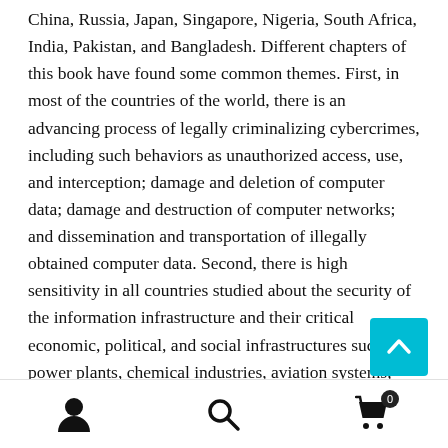China, Russia, Japan, Singapore, Nigeria, South Africa, India, Pakistan, and Bangladesh. Different chapters of this book have found some common themes. First, in most of the countries of the world, there is an advancing process of legally criminalizing cybercrimes, including such behaviors as unauthorized access, use, and interception; damage and deletion of computer data; damage and destruction of computer networks; and dissemination and transportation of illegally obtained computer data. Second, there is high sensitivity in all countries studied about the security of the information infrastructure and their critical economic, political, and social infrastructures such as power plants, chemical industries, aviation systems, and electoral systems. Third, all forms of cybercrime committed by using the computer and the
user icon | search icon | cart icon (0)